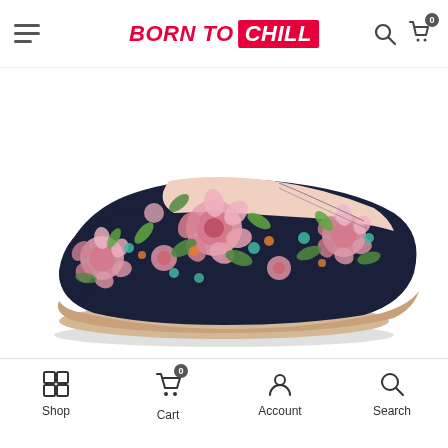BORN TO CHILL - navigation header with hamburger menu, logo, search and cart icons
[Figure (photo): A slip-on canvas shoe with dark navy/black background featuring a floral print pattern with large pink roses, green leaves, teal small flowers, and orange accent flowers. The shoe has a beige/tan rubber sole and a light pink interior lining.]
Shop | Cart (0) | Account | Search